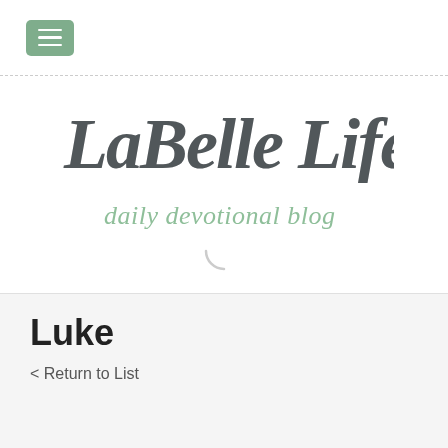[Figure (logo): Green hamburger menu button in the top-left header bar]
[Figure (logo): LaBelle Life daily devotional blog logo with stylized script text and spinner icon]
Luke
< Return to List